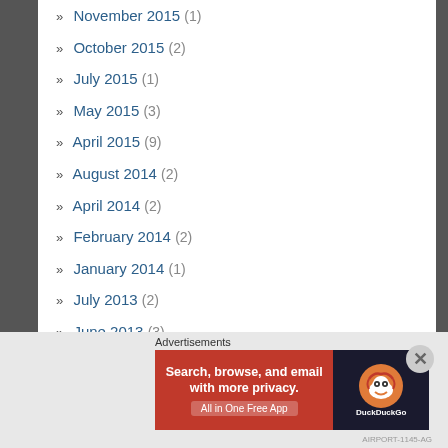» November 2015 (1)
» October 2015 (2)
» July 2015 (1)
» May 2015 (3)
» April 2015 (9)
» August 2014 (2)
» April 2014 (2)
» February 2014 (2)
» January 2014 (1)
» July 2013 (2)
» June 2013 (3)
» May 2013 (1)
Advertisements
[Figure (screenshot): DuckDuckGo advertisement banner: orange background with text 'Search, browse, and email with more privacy. All in One Free App' on left, DuckDuckGo logo on dark background on right.]